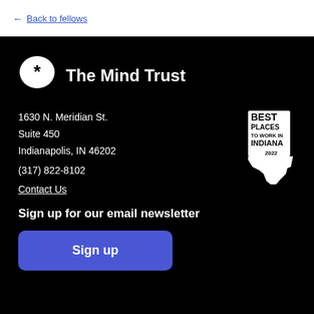← Back to fellows
[Figure (logo): The Mind Trust logo: white speech bubble with asterisk icon, followed by text 'The Mind Trust']
1630 N. Meridian St.
Suite 450
Indianapolis, IN 46202
[Figure (illustration): Best Places to Work in Indiana 2022 badge in white showing Indiana state silhouette]
(317) 822-8102
Contact Us
Sign up for our email newsletter
Sign up